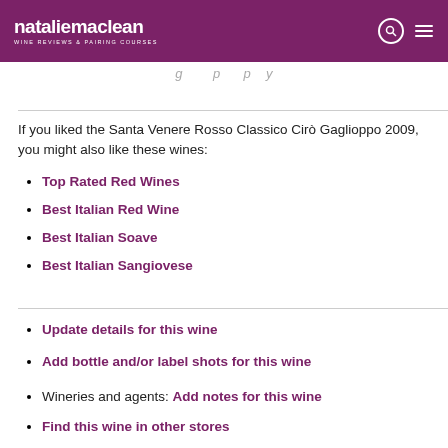nataliemaclean WINE REVIEWS & PAIRING COURSES
If you liked the Santa Venere Rosso Classico Cirò Gaglioppo 2009, you might also like these wines:
Top Rated Red Wines
Best Italian Red Wine
Best Italian Soave
Best Italian Sangiovese
Update details for this wine
Add bottle and/or label shots for this wine
Wineries and agents: Add notes for this wine
Find this wine in other stores